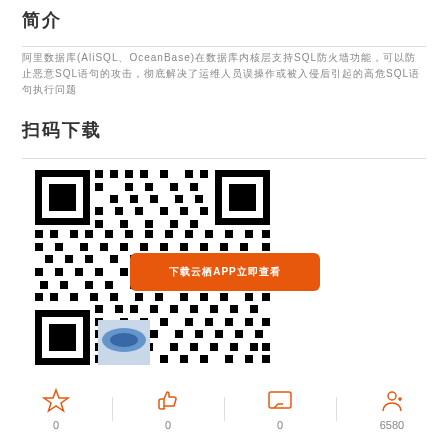简介
阿里数据库(AliSQL、OceanBase)在数据库内核层支持SQL防火墙功能，可以防止恶意SQL语句的攻击，彻底解决了运维人员误操作或被入侵后引起的高危SQL语句执行问题
扫码下载
[Figure (other): QR code with orange overlay button saying 下载云栖APP立即查看]
0  0  0  6580